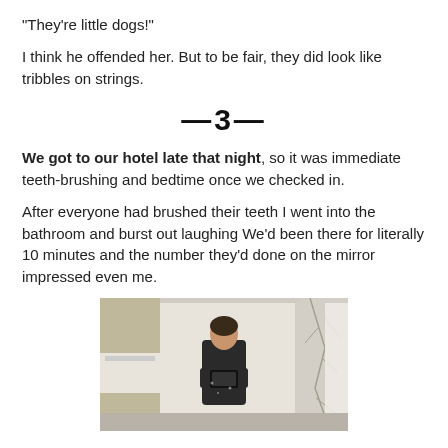"They're little dogs!"
I think he offended her. But to be fair, they did look like tribbles on strings.
—3—
We got to our hotel late that night, so it was immediate teeth-brushing and bedtime once we checked in.
After everyone had brushed their teeth I went into the bathroom and burst out laughing We'd been there for literally 10 minutes and the number they'd done on the mirror impressed even me.
[Figure (photo): A person taking a mirror selfie in a hotel bathroom, holding a phone, wearing a dark dress. The bathroom has white walls, a shower curtain with a tree branch pattern on the right, and hotel linens visible.]